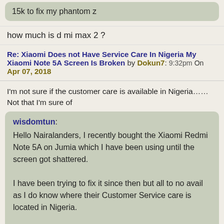15k to fix my phantom z
how much is d mi max 2 ?
Re: Xiaomi Does not Have Service Care In Nigeria My Xiaomi Note 5A Screen Is Broken by Dokun7: 9:32pm On Apr 07, 2018
I'm not sure if the customer care is available in Nigeria...... Not that I'm sure of
wisdomtun: Hello Nairalanders, I recently bought the Xiaomi Redmi Note 5A on Jumia which I have been using until the screen got shattered.

I have been trying to fix it since then but all to no avail as I do know where their Customer Service care is located in Nigeria.

I have also sent a message to their Facebook page according to a friend's recommendation but since